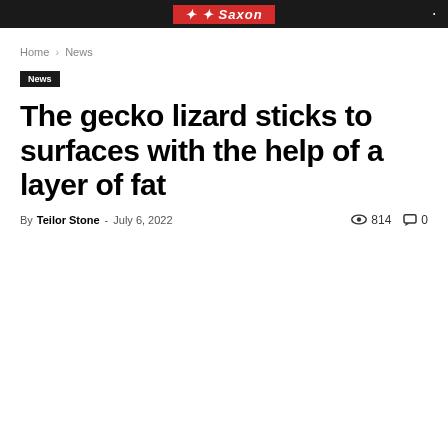Saxon (logo/navigation bar)
Home › News
News
The gecko lizard sticks to surfaces with the help of a layer of fat
By Teilor Stone - July 6, 2022  814  0